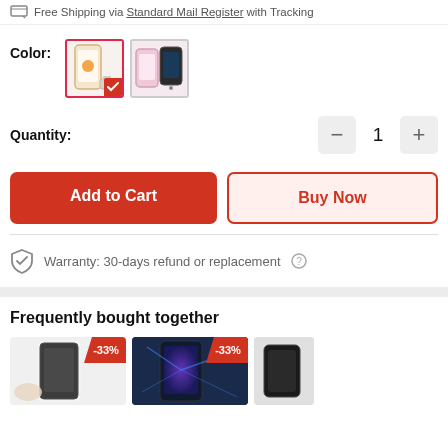Free Shipping via Standard Mail Register with Tracking
Color:
[Figure (screenshot): Two color option thumbnails for phone case: clear/gold selected with red checkmark, and pink/rose gold unselected]
Quantity:
1
Add to Cart
Buy Now
Warranty: 30-days refund or replacement
Frequently bought together
[Figure (screenshot): Three product thumbnails with -33% discount badges: phone screen protectors]